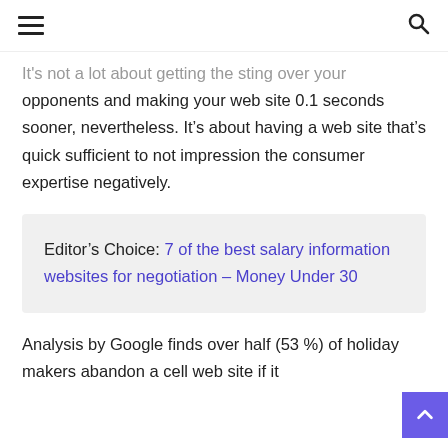≡ [hamburger menu] [search icon]
It's not a lot about getting the sting over your opponents and making your web site 0.1 seconds sooner, nevertheless. It's about having a web site that's quick sufficient to not impression the consumer expertise negatively.
Editor's Choice: 7 of the best salary information websites for negotiation – Money Under 30
Analysis by Google finds over half (53 %) of holiday makers abandon a cell web site if it